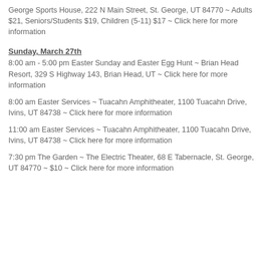George Sports House, 222 N Main Street, St. George, UT 84770 ~ Adults $21, Seniors/Students $19, Children (5-11) $17 ~ Click here for more information
Sunday, March 27th
8:00 am - 5:00 pm Easter Sunday and Easter Egg Hunt ~ Brian Head Resort, 329 S Highway 143, Brian Head, UT ~ Click here for more information
8:00 am Easter Services ~ Tuacahn Amphitheater, 1100 Tuacahn Drive, Ivins, UT 84738 ~ Click here for more information
11:00 am Easter Services ~ Tuacahn Amphitheater, 1100 Tuacahn Drive, Ivins, UT 84738 ~ Click here for more information
7:30 pm The Garden ~ The Electric Theater, 68 E Tabernacle, St. George, UT 84770 ~ $10 ~ Click here for more information